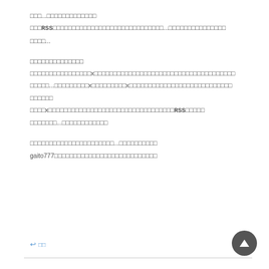□□□...□□□□□□□□□□□□□
□□□RSS□□□□□□□□□□□□□□□□□□□□□□□□□□□□□...□□□□□□□□□□□□□□□
□□□□...
□□□□□□□□□□□□□□
□□□□□□□□□□□□□□□□x□□□□□□□□□□□□□□□□□□□□□□□□□□□□□□□□□□□□□
□□□□□...□□□□□□□□□x□□□□□□□□□x□□□□□□□□□□□□□□□□□□□□□□□□□□□
□□□□□□
□□□□x□□□□□□□□□□□□□□□□□□□□□□□□□□□□□□□□□RSS□□□□□
□□□□□□□...□□□□□□□□□□□□
□□□□□□□□□□□□□□□□□□□□□□...□□□□□□□□□□
gaito777□□□□□□□□□□□□□□□□□□□□□□□□□□□